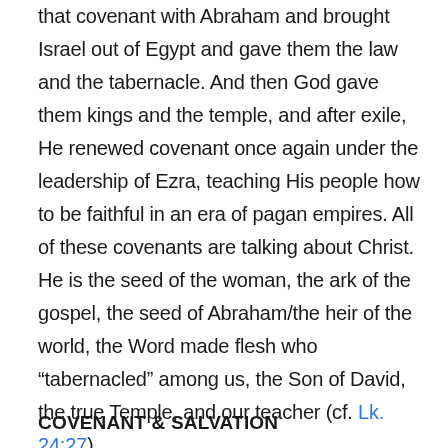that covenant with Abraham and brought Israel out of Egypt and gave them the law and the tabernacle. And then God gave them kings and the temple, and after exile, He renewed covenant once again under the leadership of Ezra, teaching His people how to be faithful in an era of pagan empires. All of these covenants are talking about Christ. He is the seed of the woman, the ark of the gospel, the seed of Abraham/the heir of the world, the Word made flesh who “tabernacled” among us, the Son of David, the true Temple, and our teacher (cf. Lk. 24:27).
COVENANT & SALVATION